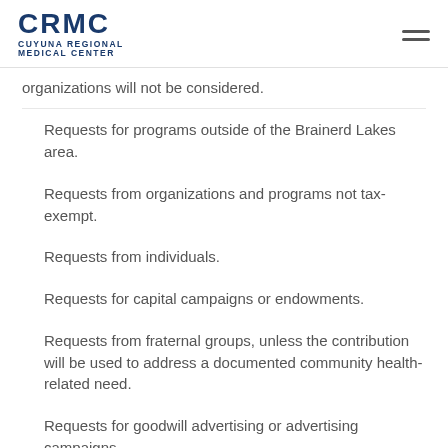CRMC Cuyuna Regional Medical Center
organizations will not be considered.
Requests for programs outside of the Brainerd Lakes area.
Requests from organizations and programs not tax-exempt.
Requests from individuals.
Requests for capital campaigns or endowments.
Requests from fraternal groups, unless the contribution will be used to address a documented community health-related need.
Requests for goodwill advertising or advertising campaigns.